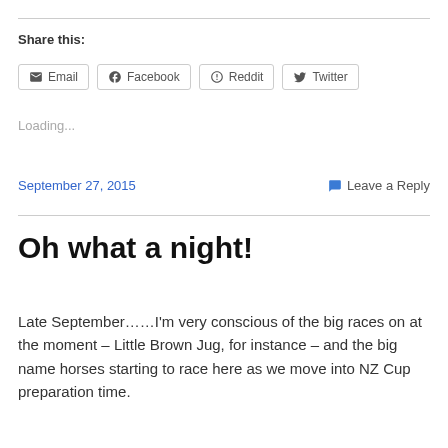Share this:
Email  Facebook  Reddit  Twitter
Loading...
September 27, 2015   Leave a Reply
Oh what a night!
Late September……I’m very conscious of the big races on at the moment – Little Brown Jug, for instance – and the big name horses starting to race here as we move into NZ Cup preparation time.